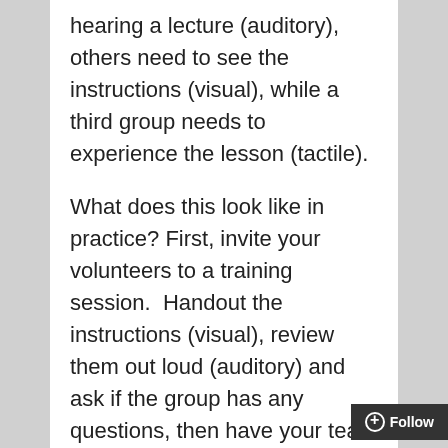hearing a lecture (auditory), others need to see the instructions (visual), while a third group needs to experience the lesson (tactile).
What does this look like in practice? First, invite your volunteers to a training session. Handout the instructions (visual), review them out loud (auditory) and ask if the group has any questions, then have your team walk through the event space (tactile). By hitting all three learning styles, you increase the chances of each volunteer understanding your instructions and being able to do a